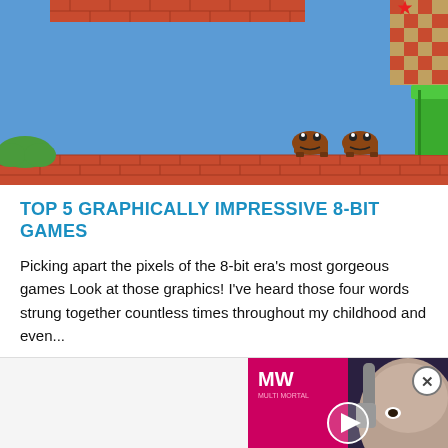[Figure (screenshot): 8-bit Mario Bros style game screenshot showing blue sky, brick platforms, green pipe, two Goomba enemies, and decorative blocks on the right side]
TOP 5 GRAPHICALLY IMPRESSIVE 8-BIT GAMES
Picking apart the pixels of the 8-bit era's most gorgeous games Look at those graphics! I've heard those four words strung together countless times throughout my childhood and even...
[Figure (screenshot): Apex Legends Hunted Update video ad popup with MW logo, character face, play button overlay, pink and white text]
[Figure (infographic): Berylook fashion advertisement strip showing four clothing thumbnail images and Berylook script logo with arrow and X close button]